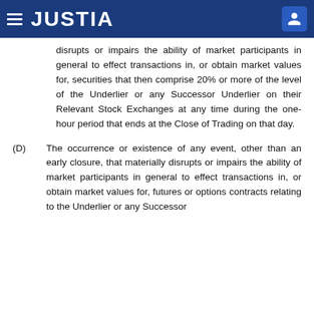JUSTIA
disrupts or impairs the ability of market participants in general to effect transactions in, or obtain market values for, securities that then comprise 20% or more of the level of the Underlier or any Successor Underlier on their Relevant Stock Exchanges at any time during the one-hour period that ends at the Close of Trading on that day.
(D) The occurrence or existence of any event, other than an early closure, that materially disrupts or impairs the ability of market participants in general to effect transactions in, or obtain market values for, futures or options contracts relating to the Underlier or any Successor